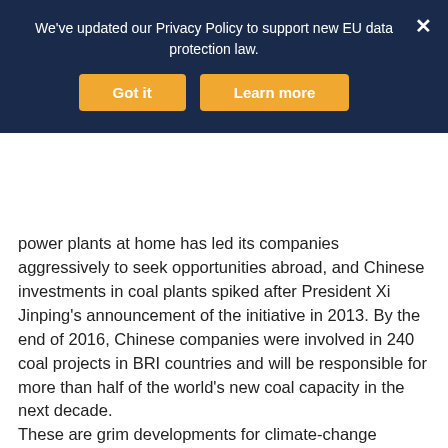[Figure (other): Cookie consent banner overlay with dark navy background, message 'We've updated our Privacy Policy to support new EU data protection law.', two orange buttons labeled 'Got it' and 'Learn more', and a white X close button.]
power plants at home has led its companies aggressively to seek opportunities abroad, and Chinese investments in coal plants spiked after President Xi Jinping's announcement of the initiative in 2013. By the end of 2016, Chinese companies were involved in 240 coal projects in BRI countries and will be responsible for more than half of the world's new coal capacity in the next decade.
These are grim developments for climate-change mitigation, but there is an important footnote: Before China can export clean technologies, countries need grid infrastructure to deploy them cost-efficiently.
Efficient power lines reduce two implicit costs of utility-scale renewable projects: their distance from to be stated as a matter that can occur in the...